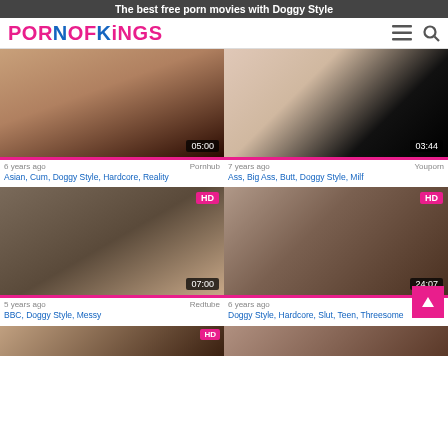The best free porn movies with Doggy Style
[Figure (screenshot): PornOfKings website logo with hamburger menu and search icons]
[Figure (screenshot): Video thumbnail card 1 - duration 05:00, 6 years ago, Pornhub, tags: Asian, Cum, Doggy Style, Hardcore, Reality]
[Figure (screenshot): Video thumbnail card 2 - duration 03:44, 7 years ago, Youporn, tags: Ass, Big Ass, Butt, Doggy Style, Milf]
[Figure (screenshot): Video thumbnail card 3 HD - duration 07:00, 5 years ago, Redtube, tags: BBC, Doggy Style, Messy]
[Figure (screenshot): Video thumbnail card 4 HD - duration 24:07, 6 years ago, Pornhub, tags: Doggy Style, Hardcore, Slut, Teen, Threesome]
[Figure (screenshot): Partial video thumbnail card 5 HD - bottom row left]
[Figure (screenshot): Partial video thumbnail card 6 - bottom row right]